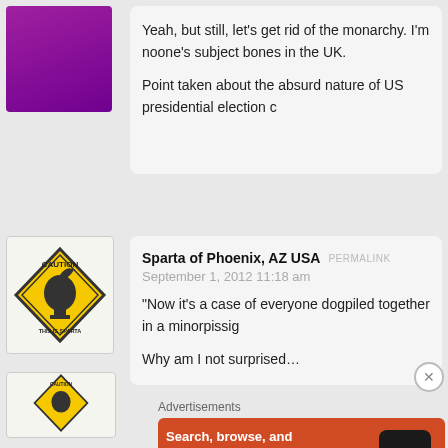[Figure (illustration): Purple/magenta user avatar image (partially visible at top-left)]
Yeah, but still, let’s get rid of the monarchy. I’m noone’s subject bones in the UK.
Point taken about the absurd nature of US presidential election c
[Figure (illustration): Caution sign avatar with Spartan helmet - yellow diamond warning sign with black border and THIS IS SPARTA text]
Sparta of Phoenix, AZ USA
PERMALINK
September 1, 2012 11:18 am
“Now it’s a case of everyone dogpiled together in a minorpissig
Why am I not surprised…
[Figure (illustration): Caution sign avatar (partially visible at bottom-left)]
Advertisements
[Figure (illustration): DuckDuckGo advertisement banner: orange background with phone showing DuckDuckGo logo. Text: Search, browse, and email with more privacy. All in One Free App]